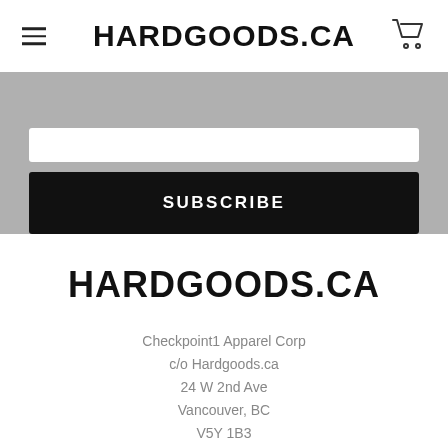HARDGOODS.CA
SUBSCRIBE
HARDGOODS.CA
Checkpoint1 Apparel Corp
c/o Hardgoods.ca
24 W 2nd Ave
Vancouver, BC
V5Y 1B3
Call us at (604) 629-8260